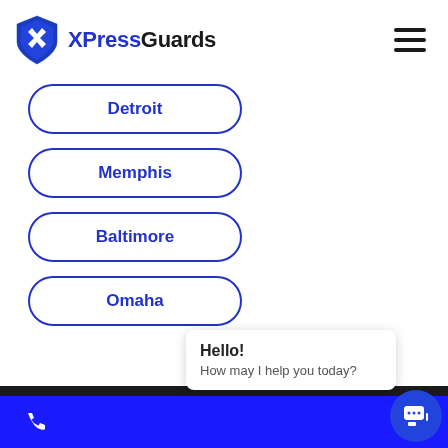[Figure (logo): XPressGuards logo: blue shield/person icon with text 'XPress' in blue and 'Guards' in dark/black]
Detroit
Memphis
Baltimore
Omaha
Hello! How may I help you today?